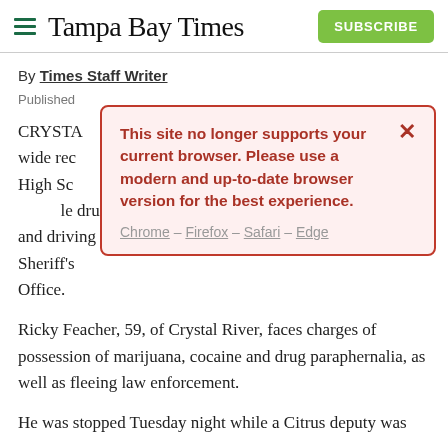Tampa Bay Times
By Times Staff Writer
Published
[Figure (screenshot): Browser compatibility warning modal dialog with red border on pink background. Text: 'This site no longer supports your current browser. Please use a modern and up-to-date browser version for the best experience.' Links: Chrome – Firefox – Safari – Edge. Close button (X) top right.]
CRYSTA[L RIVER — A man who coaches a Little League wide rec[reational] ...achee High Sch[ool] ... le drug and driving charges, according to the Citrus County Sheriff's Office.
Ricky Feacher, 59, of Crystal River, faces charges of possession of marijuana, cocaine and drug paraphernalia, as well as fleeing law enforcement.
He was stopped Tuesday night while a Citrus deputy was